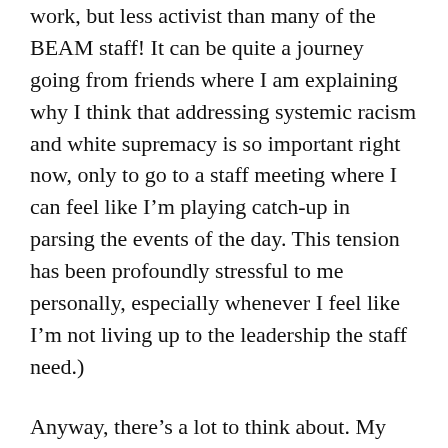work, but less activist than many of the BEAM staff! It can be quite a journey going from friends where I am explaining why I think that addressing systemic racism and white supremacy is so important right now, only to go to a staff meeting where I can feel like I'm playing catch-up in parsing the events of the day. This tension has been profoundly stressful to me personally, especially whenever I feel like I'm not living up to the leadership the staff need.)
Anyway, there's a lot to think about. My podcast feed has had a lot more about leadership, and I'm so grateful to the two programs I was a part of that provided me with leadership coaching in the past year. It's made